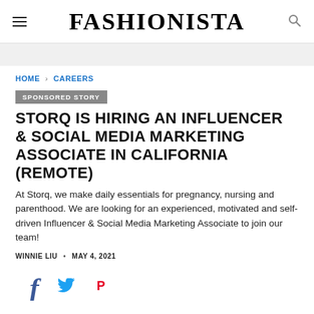FASHIONISTA
HOME > CAREERS
SPONSORED STORY
STORQ IS HIRING AN INFLUENCER & SOCIAL MEDIA MARKETING ASSOCIATE IN CALIFORNIA (REMOTE)
At Storq, we make daily essentials for pregnancy, nursing and parenthood. We are looking for an experienced, motivated and self-driven Influencer & Social Media Marketing Associate to join our team!
WINNIE LIU • MAY 4, 2021
[Figure (other): Social media share icons: Facebook, Twitter, Pinterest]